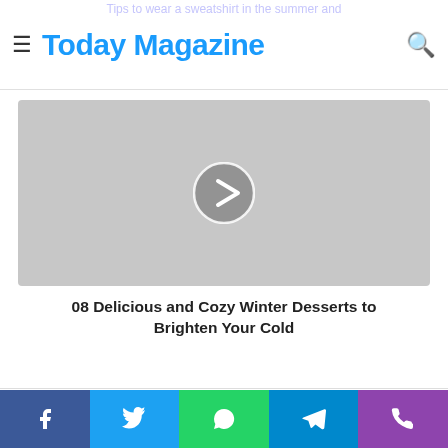Today Magazine
Tips to wear a sweatshirt in the summer and
[Figure (other): Gray placeholder video thumbnail with a circular play button (chevron right) in the center]
08 Delicious and Cozy Winter Desserts to Brighten Your Cold
Related Articles
[Figure (other): Social share bar with Facebook, Twitter, WhatsApp, Telegram, and Phone icons]